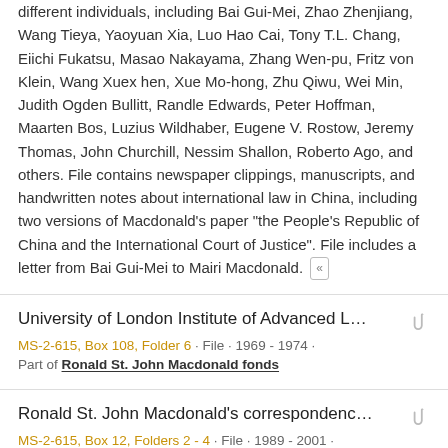different individuals, including Bai Gui-Mei, Zhao Zhenjiang, Wang Tieya, Yaoyuan Xia, Luo Hao Cai, Tony T.L. Chang, Eiichi Fukatsu, Masao Nakayama, Zhang Wen-pu, Fritz von Klein, Wang Xuex hen, Xue Mo-hong, Zhu Qiwu, Wei Min, Judith Ogden Bullitt, Randle Edwards, Peter Hoffman, Maarten Bos, Luzius Wildhaber, Eugene V. Rostow, Jeremy Thomas, John Churchill, Nessim Shallon, Roberto Ago, and others. File contains newspaper clippings, manuscripts, and handwritten notes about international law in China, including two versions of Macdonald's paper "the People's Republic of China and the International Court of Justice". File includes a letter from Bai Gui-Mei to Mairi Macdonald. «
University of London Institute of Advanced L...
MS-2-615, Box 108, Folder 6 · File · 1969 - 1974 ·
Part of Ronald St. John Macdonald fonds
Ronald St. John Macdonald's correspondenc...
MS-2-615, Box 12, Folders 2 - 4 · File · 1989 - 2001 ·
Part of Ronald St. John Macdonald fonds
File contains correspondence with Emile K.M Yakpo. File includes meeting minutes of the African Society of